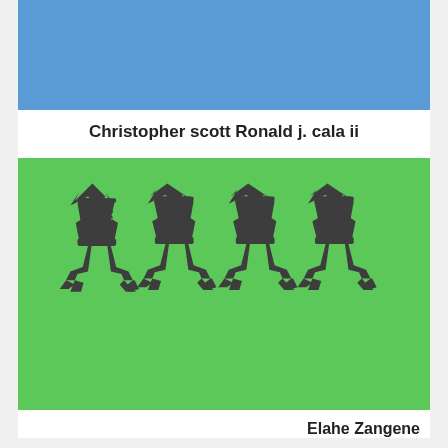[Figure (illustration): Blue rectangular banner at the top of the page]
Christopher scott Ronald j. cala ii
[Figure (illustration): Green rectangular background with four stylized dark gray tribal/calligraphic creature figures arranged in a row]
Elahe Zangene